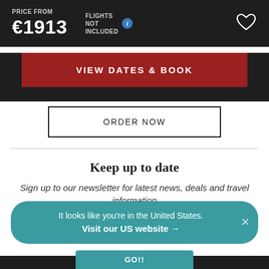PRICE FROM €1913
FLIGHTS NOT INCLUDED
VIEW DATES & BOOK
ORDER NOW
Keep up to date
Sign up to our newsletter for latest news, deals and travel information
It looks like you're in the United States. Visit our US website →
GO!!